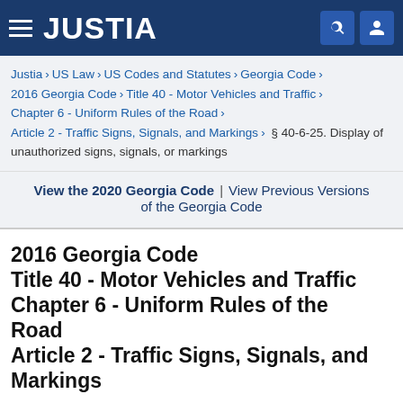JUSTIA
Justia › US Law › US Codes and Statutes › Georgia Code › 2016 Georgia Code › Title 40 - Motor Vehicles and Traffic › Chapter 6 - Uniform Rules of the Road › Article 2 - Traffic Signs, Signals, and Markings › § 40-6-25. Display of unauthorized signs, signals, or markings
View the 2020 Georgia Code | View Previous Versions of the Georgia Code
2016 Georgia Code Title 40 - Motor Vehicles and Traffic Chapter 6 - Uniform Rules of the Road Article 2 - Traffic Signs, Signals, and Markings